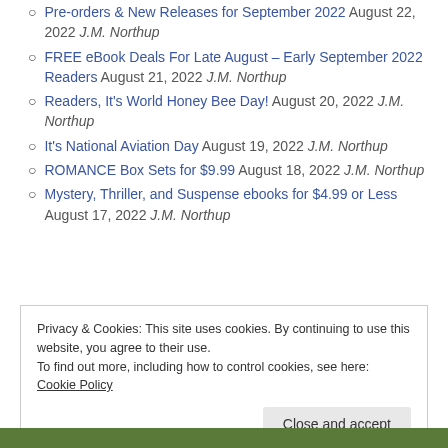Pre-orders & New Releases for September 2022 August 22, 2022 J.M. Northup
FREE eBook Deals For Late August – Early September 2022 Readers August 21, 2022 J.M. Northup
Readers, It's World Honey Bee Day! August 20, 2022 J.M. Northup
It's National Aviation Day August 19, 2022 J.M. Northup
ROMANCE Box Sets for $9.99 August 18, 2022 J.M. Northup
Mystery, Thriller, and Suspense ebooks for $4.99 or Less August 17, 2022 J.M. Northup
Privacy & Cookies: This site uses cookies. By continuing to use this website, you agree to their use. To find out more, including how to control cookies, see here: Cookie Policy
Close and accept